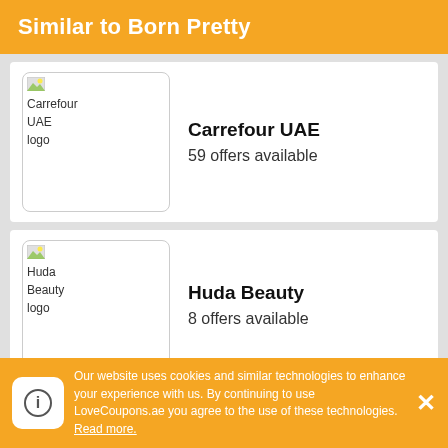Similar to Born Pretty
Carrefour UAE
59 offers available
Huda Beauty
8 offers available
Aster Online
10 offers available
Our website uses cookies and similar technologies to enhance your experience with us. By continuing to use LoveCoupons.ae you agree to the use of these technologies. Read more.